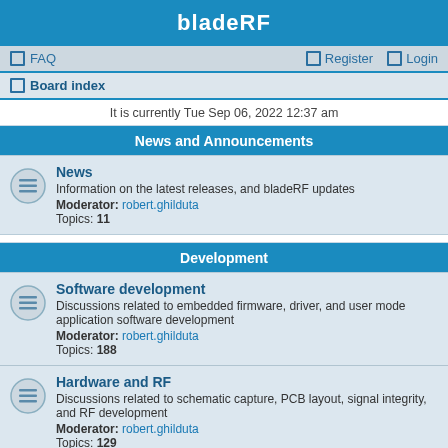bladeRF
FAQ   Register   Login
Board index
It is currently Tue Sep 06, 2022 12:37 am
News and Announcements
News
Information on the latest releases, and bladeRF updates
Moderator: robert.ghilduta
Topics: 11
Development
Software development
Discussions related to embedded firmware, driver, and user mode application software development
Moderator: robert.ghilduta
Topics: 188
Hardware and RF
Discussions related to schematic capture, PCB layout, signal integrity, and RF development
Moderator: robert.ghilduta
Topics: 129
Digital Signal Processing
Discussions related to modulation techniques, filtering, error correction and